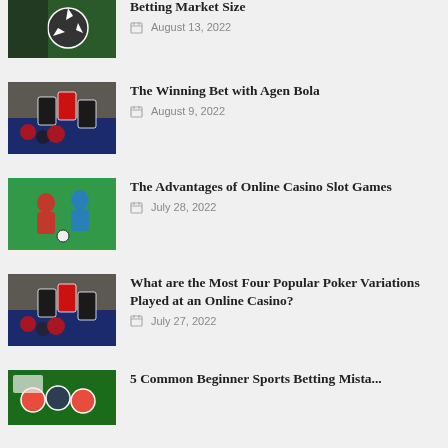[Figure (photo): Soccer ball image, partial at top]
Betting Market Size
August 13, 2022
[Figure (photo): Casino chips and dice on colorful background]
The Winning Bet with Agen Bola
August 9, 2022
[Figure (photo): Two soccer players in action, red and blue jerseys]
The Advantages of Online Casino Slot Games
July 28, 2022
[Figure (photo): Casino chips and dice on colorful background]
What are the Most Four Popular Poker Variations Played at an Online Casino?
July 27, 2022
[Figure (photo): Poker chips on green table, partial at bottom]
5 Common Beginner Sports Betting Mistakes